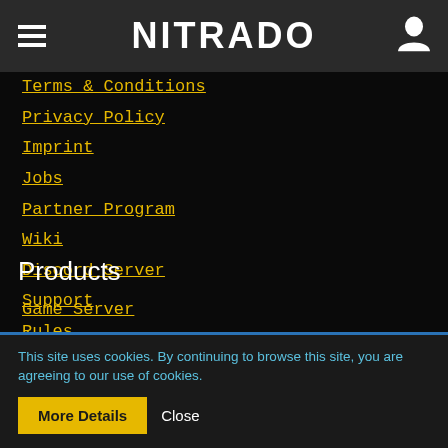NITRADO
Terms & Conditions
Privacy Policy
Imprint
Jobs
Partner Program
Wiki
Discord Server
Support
Rules
Products
Game Server
Voice Server
Domains
[Figure (logo): NITRADO logo in bold white block letters]
Nitrado is a company owned by marbis GmbH.
This site uses cookies. By continuing to browse this site, you are agreeing to our use of cookies.